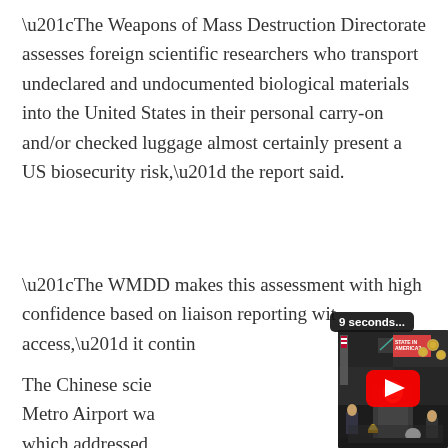“The Weapons of Mass Destruction Directorate assesses foreign scientific researchers who transport undeclared and undocumented biological materials into the United States in their personal carry-on and/or checked luggage almost certainly present a US biosecurity risk,” the report said.
“The WMDD makes this assessment with high confidence based on liaison reporting with access,” it continued.
[Figure (screenshot): YouTube video overlay showing a man at a desk with American flags and studio equipment, partially overlapping the article text. A '9 seconds...' toast notification appears above the video thumbnail. A red YouTube play button is visible in the center of the thumbnail.]
The Chinese scientists at Detroit Metro Airport was which addressed researchers in the